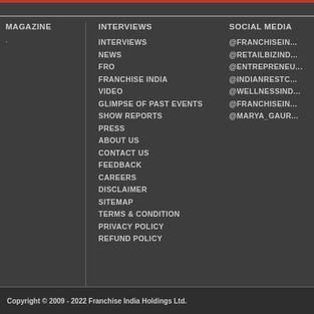MAGAZINE
INTERVIEWS
SOCIAL MEDIA
INTERVIEWS
NEWS
FRO
FRANCHISE INDIA
VIDEO
GLIMPSE OF PAST EVENTS
SHOW REPORTS
PRESS
ABOUT US
CONTACT US
FEEDBACK
CAREERS
DISCLAIMER
SITEMAP
TERMS & CONDITION
PRIVACY POLICY
REFUND POLICY
@FranchiseIn...
@RetailBizInd...
@Entrepreneu...
@IndianRestC...
@WellnessInd...
@FranchiseIn...
@Marya_Gaur...
Copyright © 2009 - 2022 Franchise India Holdings Ltd.